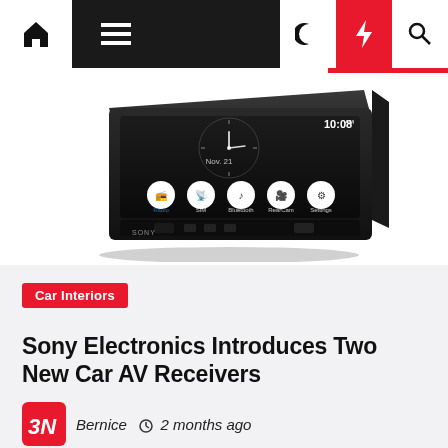Navigation bar with home, menu, moon, lightning, and search icons
[Figure (photo): Sony car AV receiver with touchscreen display showing clock reading 10:08 AM, date Nov. 21, and app icons including Radio, SIM, Bluetooth, RearCam, and Settings on a black unit with physical buttons along the bottom]
Car Interiors
Sony Electronics Introduces Two New Car AV Receivers
Bernice  2 months ago